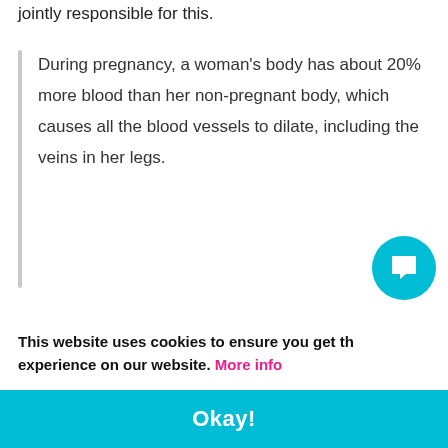jointly responsible for this.
During pregnancy, a woman's body has about 20% more blood than her non-pregnant body, which causes all the blood vessels to dilate, including the veins in her legs.
Due to this dilation of blood vessels, the valves that prevent the backflow of blood get stretched and damaged, thereby leading to the pooling of blo...
This website uses cookies to ensure you get the best experience on our website. More info
Okay!